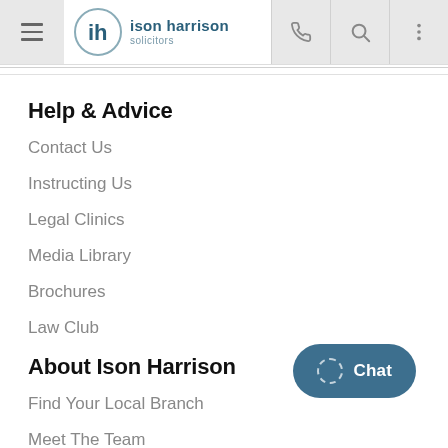ison harrison solicitors — navigation header
Help & Advice
Contact Us
Instructing Us
Legal Clinics
Media Library
Brochures
Law Club
About Ison Harrison
Find Your Local Branch
Meet The Team